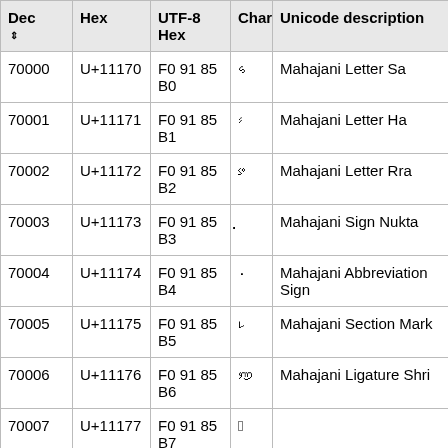| Dec ⇕ | Hex | UTF-8 Hex | Char | Unicode description |
| --- | --- | --- | --- | --- |
| 70000 | U+11170 | F0 91 85 B0 | 𑅰 | Mahajani Letter Sa |
| 70001 | U+11171 | F0 91 85 B1 | 𑅱 | Mahajani Letter Ha |
| 70002 | U+11172 | F0 91 85 B2 | 𑅲 | Mahajani Letter Rra |
| 70003 | U+11173 | F0 91 85 B3 | 𑅳 | Mahajani Sign Nukta |
| 70004 | U+11174 | F0 91 85 B4 | 𑅴 | Mahajani Abbreviation Sign |
| 70005 | U+11175 | F0 91 85 B5 | 𑅵 | Mahajani Section Mark |
| 70006 | U+11176 | F0 91 85 B6 | 𑅶 | Mahajani Ligature Shri |
| 70007 | U+11177 | F0 91 85 B7 | 𑅷 |  |